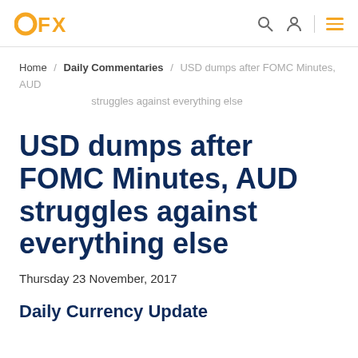OFX
Home / Daily Commentaries / USD dumps after FOMC Minutes, AUD struggles against everything else
USD dumps after FOMC Minutes, AUD struggles against everything else
Thursday 23 November, 2017
Daily Currency Update